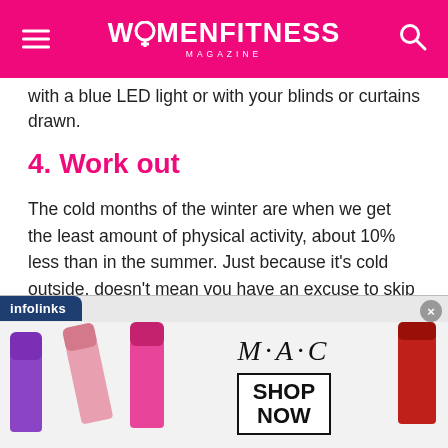WOMENFITNESS MAGAZINE
with a blue LED light or with your blinds or curtains drawn.
4. Work out
The cold months of the winter are when we get the least amount of physical activity, about 10% less than in the summer. Just because it's cold outside, doesn't mean you have an excuse to skip your exercise. Make an effort to hit the gym or exercise at home. It's one of the best ways to fight the winter blues and keep those unwanted winter calories in check.
[Figure (infographic): MAC cosmetics advertisement banner with lipsticks on left and right sides, MAC logo in center, SHOP NOW button in a box. Infolinks label at top-left, close button at top-right.]